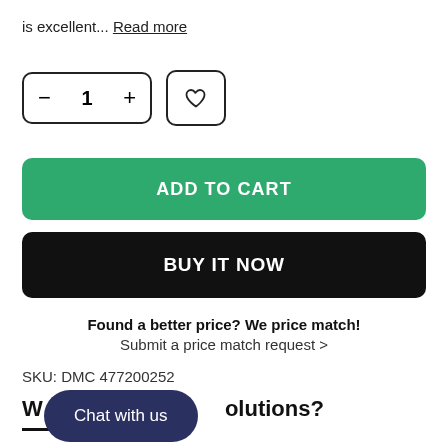is excellent... Read more
[Figure (other): Quantity selector with minus, 1, plus buttons and a heart/wishlist button]
ADD TO CART
BUY IT NOW
Found a better price? We price match!
Submit a price match request >
SKU: DMC 477200252
W  olutions?
Chat with us